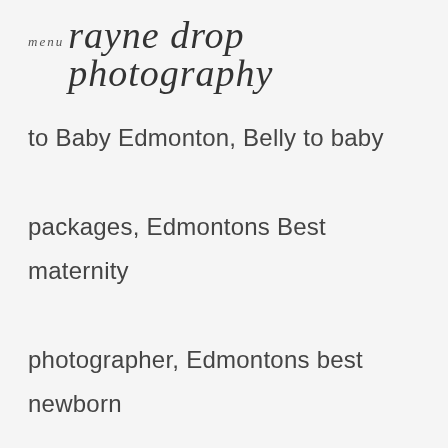menu rayne drop photography
to Baby Edmonton, Belly to baby packages, Edmontons Best maternity photographer, Edmontons best newborn photographer, Leduc Maternity and newborn photographer, edmonton twin newborn photographer, Leduc Maternity Photographer, Calmar Maternity Photographer, Warburg Maternity Photographer, Thorsby Maternity